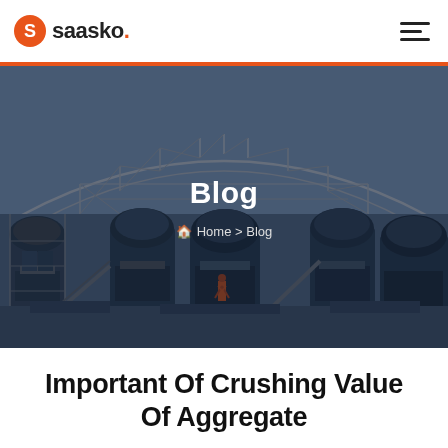saasko.
[Figure (photo): Industrial steel structure/truss framework with heavy machinery including crushers or aggregate processing equipment below, dark blue-tinted photo used as hero banner background]
Blog
Home > Blog
Important Of Crushing Value Of Aggregate